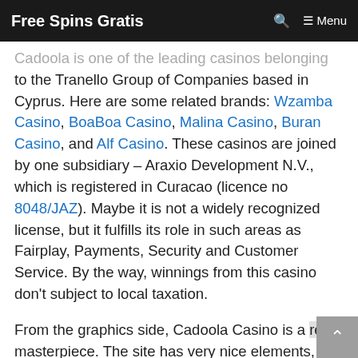Free Spins Gratis  🔍  ≡ Menu
Cadoola is one of the leading casinos belonging to the Tranello Group of Companies based in Cyprus. Here are some related brands: Wzamba Casino, BoaBoa Casino, Malina Casino, Buran Casino, and Alf Casino. These casinos are joined by one subsidiary – Araxio Development N.V., which is registered in Curacao (licence no 8048/JAZ). Maybe it is not a widely recognized license, but it fulfills its role in such areas as Fairplay, Payments, Security and Customer Service. By the way, winnings from this casino don't subject to local taxation.
From the graphics side, Cadoola Casino is a real masterpiece. The site has very nice elements, fairy-tale animations and eye-friendly color